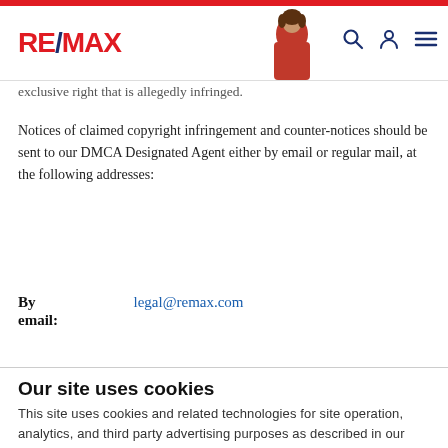RE/MAX
exclusive right that is allegedly infringed.
Notices of claimed copyright infringement and counter-notices should be sent to our DMCA Designated Agent either by email or regular mail, at the following addresses:
By email: legal@remax.com
Our site uses cookies
This site uses cookies and related technologies for site operation, analytics, and third party advertising purposes as described in our Privacy Notice .
ACCEPT